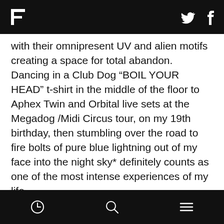F [logo] [twitter icon] [facebook icon]
with their omnipresent UV and alien motifs creating a space for total abandon. Dancing in a Club Dog “BOIL YOUR HEAD” t-shirt in the middle of the floor to Aphex Twin and Orbital live sets at the Megadog /Midi Circus tour, on my 19th birthday, then stumbling over the road to fire bolts of pure blue lightning out of my face into the night sky* definitely counts as one of the most intense experiences of my life.
The soundtrack to my daytime life consisted almost entirely of two tapes: one that Simon had by DJ Remould and one I found on a market by Andy (as he was then) Weatherall, both of them in their way space
[clock icon] [search icon] [menu icon]